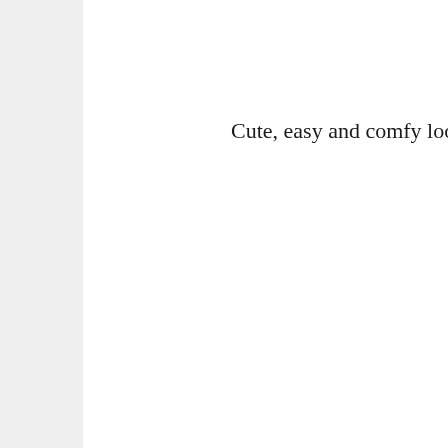Cute, easy and comfy look for a lunch d